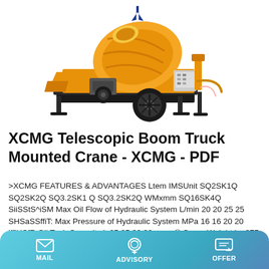[Figure (photo): Yellow XCMG concrete mixer pump truck mounted on a wheeled trailer with black chassis, orange/yellow drum, control panel, and hydraulic components.]
XCMG Telescopic Boom Truck Mounted Crane - XCMG - PDF
>XCMG FEATURES & ADVANTAGES Ltem IMSUnit SQ2SK1Q SQ2SK2Q SQ3.2SK1 Q SQ3.2SK2Q WMxmm SQ16SK4Q SiiSStS^iSM Max Oil Flow of Hydraulic System L/min 20 20 25 25 SHSaSSffiT: Max Pressure of Hydraulic System MPa 16 16 20 20 iffiHSfR Oil Tank Capacity L 25 25 30 30 same® Crane Weight kg 875 950 1105 1229 SSSiBj Installation Space mm 850 850 850 850 Rotation Angle ' 360°
MAIL   ADVISORY   OFFER